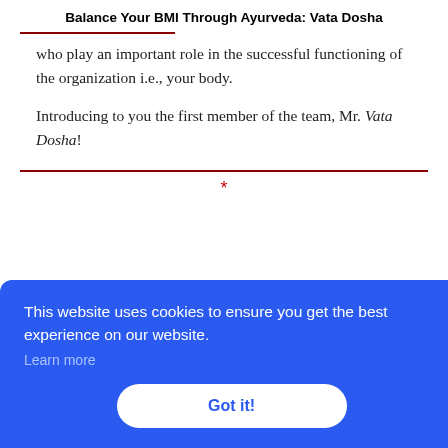Balance Your BMI Through Ayurveda: Vata Dosha
who play an important role in the successful functioning of the organization i.e., your body.
Introducing to you the first member of the team, Mr. Vata Dosha!
* (asterisk separator)
[partially visible italic text behind cookie overlay: ...nder ...er 3 ...vith a ...et ...s are]
[Figure (screenshot): Cookie consent banner overlay: blue background with text 'This website uses cookies to ensure you get the best experience on our website.' with 'Learn more' link and 'Got it!' button.]